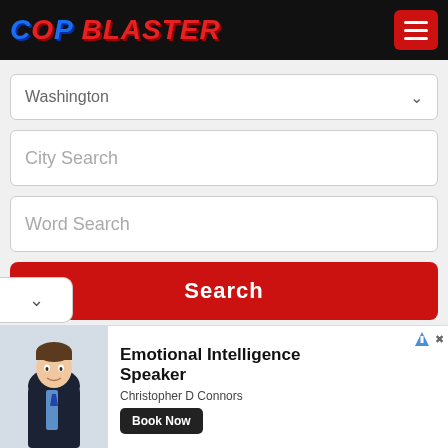[Figure (logo): CopBlaster logo in blue and red italic text on black header background, with a red hamburger menu button on the right]
Washington
City Search
Word Search
Search
[Figure (screenshot): Advertisement banner: photo of Christopher D Connors, text 'Emotional Intelligence Speaker', 'Book Now' button, 'Christopher D Connors' subtitle]